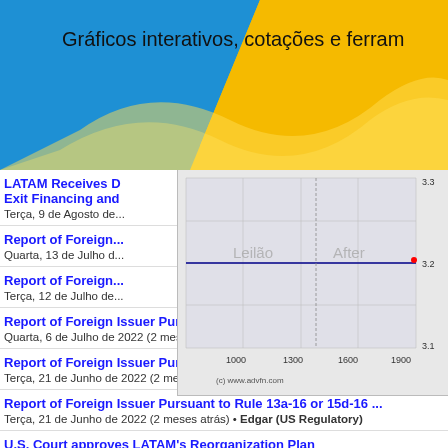[Figure (screenshot): Website banner with blue and yellow gradient background and text 'Gráficos interativos, cotações e ferram...']
Gráficos interativos, cotações e ferram...
[Figure (line-chart): Stock price chart showing a flat line around 3.2, with x-axis labels 1000, 1300, 1600, 1900 and y-axis values 3.1, 3.2, 3.3. Labels 'Leilão' and 'After' visible. Source: (c) www.advfn.com]
LATAM Receives ... Exit Financing and...
Terça, 9 de Agosto de...
Report of Foreign...
Quarta, 13 de Julho d...
Report of Foreign...
Terça, 12 de Julho de...
Report of Foreign Issuer Pursuant to Rule 13a-16 or 15d-16 ...
Quarta, 6 de Julho de 2022 (2 meses atrás) • Edgar (US Regulatory)
Report of Foreign Issuer Pursuant to Rule 13a-16 or 15d-16 ...
Terça, 21 de Junho de 2022 (2 meses atrás) • Edgar (US Regulatory)
Report of Foreign Issuer Pursuant to Rule 13a-16 or 15d-16 ...
Terça, 21 de Junho de 2022 (2 meses atrás) • Edgar (US Regulatory)
U.S. Court approves LATAM's Reorganization Plan
Domingo, 19 de Junho de 2022 (2 meses atrás) • GlobeNewswire Inc.
Report of Foreign Issuer Pursuant to Rule 13a-16 or 15d-16 ...